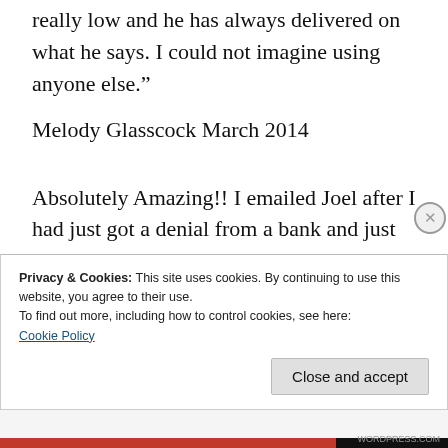really low and he has always delivered on what he says. I could not imagine using anyone else."
Melody Glasscock March 2014
Absolutely Amazing!! I emailed Joel after I had just got a denial from a bank and just thought i would try to get some advice on what my next steps would be to get a house. I honestly didn’t expect to even get a reply because my credit is
Privacy & Cookies: This site uses cookies. By continuing to use this website, you agree to their use.
To find out more, including how to control cookies, see here:
Cookie Policy
Close and accept